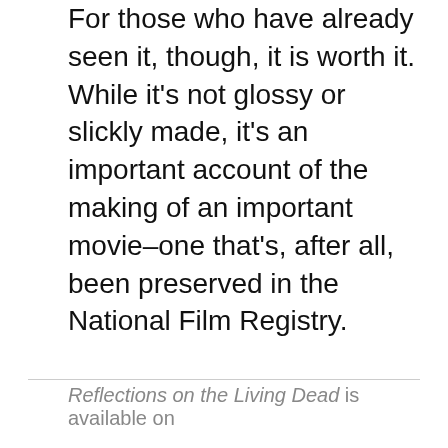For those who have already seen it, though, it is worth it. While it's not glossy or slickly made, it's an important account of the making of an important movie–one that's, after all, been preserved in the National Film Registry.
Reflections on the Living Dead is available on